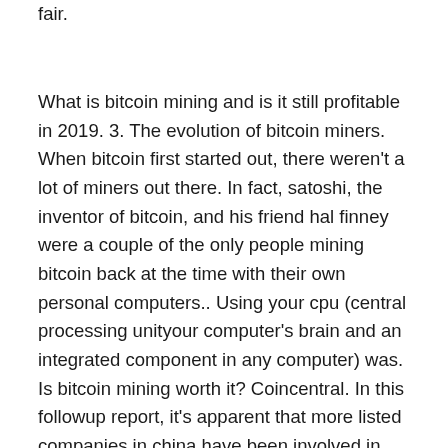fair.
What is bitcoin mining and is it still profitable in 2019. 3. The evolution of bitcoin miners. When bitcoin first started out, there weren't a lot of miners out there. In fact, satoshi, the inventor of bitcoin, and his friend hal finney were a couple of the only people mining bitcoin back at the time with their own personal computers.. Using your cpu (central processing unityour computer's brain and an integrated component in any computer) was. Is bitcoin mining worth it? Coincentral. In this followup report, it's apparent that more listed companies in china have been involved in. Bitcoin mining hardware. Hardware page /> ant miner s9. Since from the start, bitcoin's difficulty has recorded a very few and much of the time consecutive